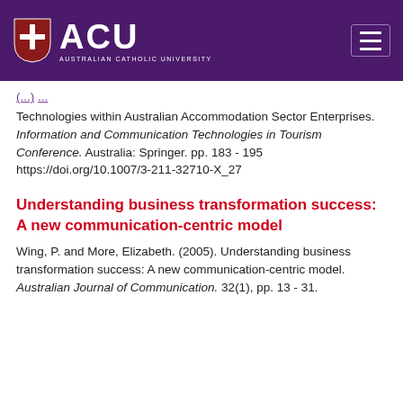[Figure (logo): ACU Australian Catholic University logo with shield icon on purple header bar with hamburger menu]
(...) Technologies within Australian Accommodation Sector Enterprises. Information and Communication Technologies in Tourism Conference. Australia: Springer. pp. 183 - 195 https://doi.org/10.1007/3-211-32710-X_27
Understanding business transformation success: A new communication-centric model
Wing, P. and More, Elizabeth. (2005). Understanding business transformation success: A new communication-centric model. Australian Journal of Communication. 32(1), pp. 13 - 31.